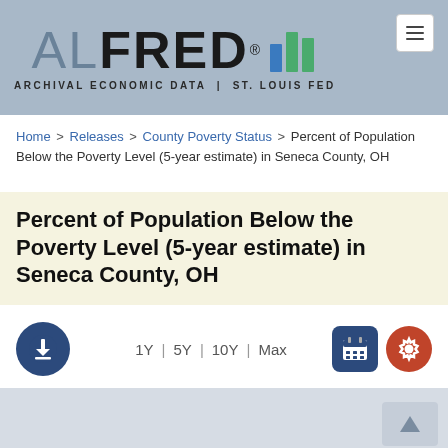[Figure (logo): ALFRED Archival Economic Data | St. Louis Fed logo with bar chart icon]
Home > Releases > County Poverty Status > Percent of Population Below the Poverty Level (5-year estimate) in Seneca County, OH
Percent of Population Below the Poverty Level (5-year estimate) in Seneca County, OH
1Y | 5Y | 10Y | Max